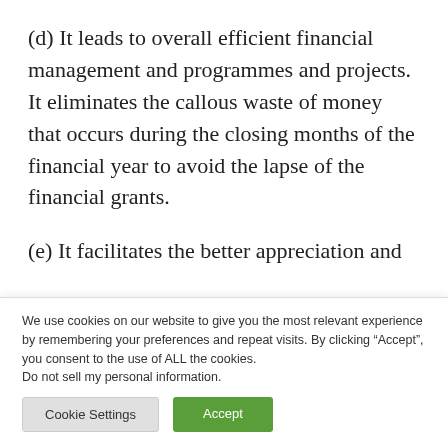(d) It leads to overall efficient financial management and programmes and projects. It eliminates the callous waste of money that occurs during the closing months of the financial year to avoid the lapse of the financial grants.
(e) It facilitates the better appreciation and
We use cookies on our website to give you the most relevant experience by remembering your preferences and repeat visits. By clicking “Accept”, you consent to the use of ALL the cookies. Do not sell my personal information.